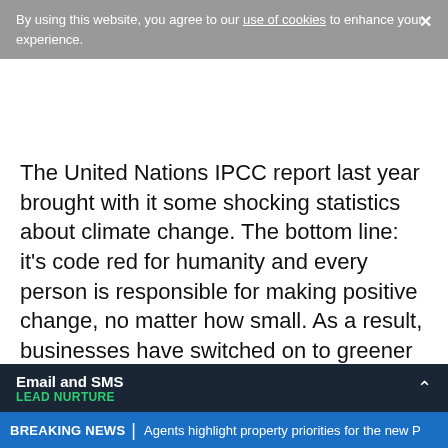By using this website, you agree to our use of cookies to enhance your experience.
The United Nations IPCC report last year brought with it some shocking statistics about climate change. The bottom line: it's code red for humanity and every person is responsible for making positive change, no matter how small. As a result, businesses have switched on to greener practices and switched off their excess consumption, waste and electricity.
There are many ways to reduce your carbon footprint in lettings, many of which will improve ... in your business.
Email and SMS LEAD NURTURE
BREAKING NEWS | Agents highlight property priorities for the new P